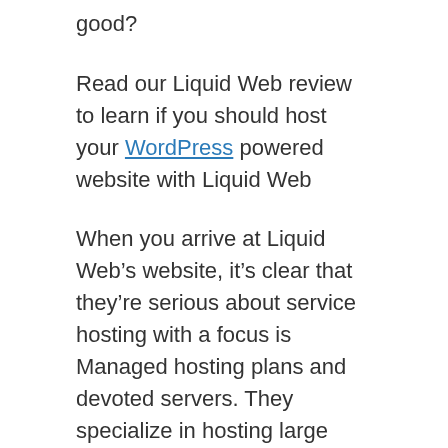good?
Read our Liquid Web review to learn if you should host your WordPress powered website with Liquid Web
When you arrive at Liquid Web’s website, it’s clear that they’re serious about service hosting with a focus is Managed hosting plans and devoted servers. They specialize in hosting large business, they also have more budget-friendly plans for smaller organizations.
Liquid Web are a well-established and popular Managed WordPress hosting service provider with